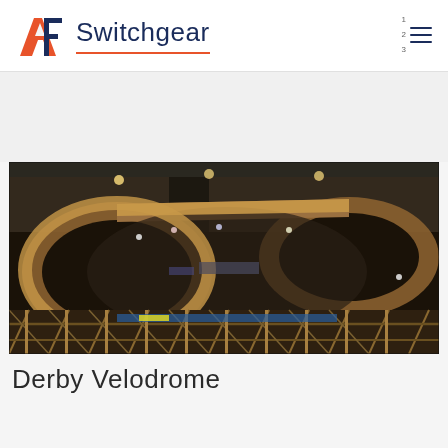AF Switchgear
[Figure (photo): Indoor velodrome cycling track viewed from elevated angle, showing banked wooden oval track with cyclists racing, surrounded by spectator seating. Dark arena interior with dramatic lighting on the wooden track surface.]
Derby Velodrome